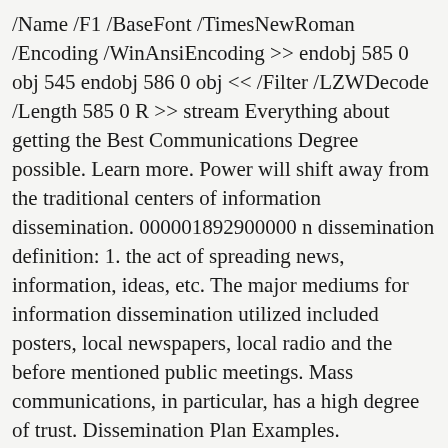/Name /F1 /BaseFont /TimesNewRoman /Encoding /WinAnsiEncoding >> endobj 585 0 obj 545 endobj 586 0 obj << /Filter /LZWDecode /Length 585 0 R >> stream Everything about getting the Best Communications Degree possible. Learn more. Power will shift away from the traditional centers of information dissemination. 000001892900000 n dissemination definition: 1. the act of spreading news, information, ideas, etc. The major mediums for information dissemination utilized included posters, local newspapers, local radio and the before mentioned public meetings. Mass communications, in particular, has a high degree of trust. Dissemination Plan Examples. 000001618500000 n The Agency for Healthcare Research and Quality (AHRQ) Effective Healthcare (EHC) Program funds individual researchers, research centers, and academic organizations to work with AHRQ to produce effectiveness and comparative effectiveness research for clinicians and consumers.1 Comparative effectiveness research (CER) compares the benefits, harms, and effectiveness of health